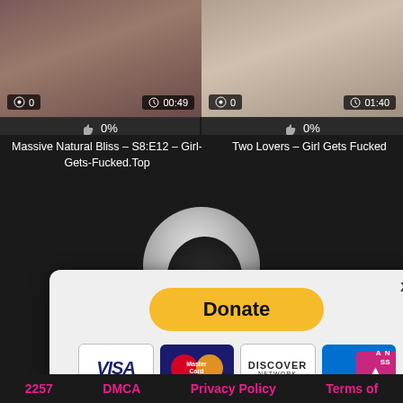[Figure (screenshot): Video thumbnail left - adult content thumbnail with view count 0 and duration 00:49]
0%
Massive Natural Bliss – S8:E12 – Girl-Gets-Fucked.Top
[Figure (screenshot): Video thumbnail right - adult content thumbnail with view count 0 and duration 01:40]
0%
Two Lovers – Girl Gets Fucked
[Figure (photo): Circular profile photo in black and white showing a person]
[Figure (infographic): Donate modal popup with PayPal-style Donate button and payment card logos: VISA, MasterCard, Discover Network, American Express]
2257   DMCA   Privacy Policy   Terms of